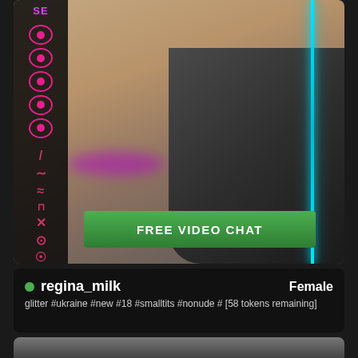[Figure (screenshot): Webcam live stream showing a person with long dreadlocks, dark and white streaked, wearing a dark jacket, in a room with warm lamp light and cyan neon LED strip on the right side. Left side panel with pink/magenta circular control buttons and waveform icons. A bright green FREE VIDEO CHAT button overlaid at bottom.]
FREE VIDEO CHAT
● regina_milk    Female
glitter #ukraine #new #18 #smalltits #nonude # [58 tokens remaining]
[Figure (screenshot): Partial preview of another webcam stream below, showing a dark silhouette/thumbnail.]